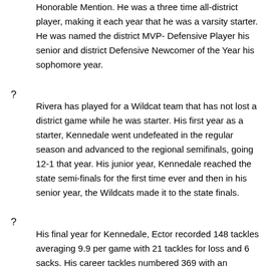Honorable Mention. He was a three time all-district player, making it each year that he was a varsity starter. He was named the district MVP- Defensive Player his senior and district Defensive Newcomer of the Year his sophomore year.
Rivera has played for a Wildcat team that has not lost a district game while he was starter. His first year as a starter, Kennedale went undefeated in the regular season and advanced to the regional semifinals, going 12-1 that year. His junior year, Kennedale reached the state semi-finals for the first time ever and then in his senior year, the Wildcats made it to the state finals.
His final year for Kennedale, Ector recorded 148 tackles averaging 9.9 per game with 21 tackles for loss and 6 sacks. His career tackles numbered 369 with an average